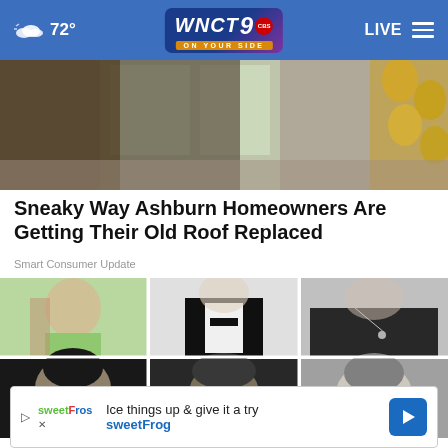72° WNCT 9 ON YOUR SIDE LIVE
[Figure (photo): Partial view of people entering a home, outdoor/indoor scene with windows and decorations visible]
Sneaky Way Ashburn Homeowners Are Getting Their Old Roof Replaced
Smart Consumer Update
[Figure (photo): Grid of six black and white yearbook-style portrait photos of various individuals]
[Figure (infographic): Advertisement banner: Ice things up & give it a try sweetFrog]
Ice things up & give it a try
sweetFrog